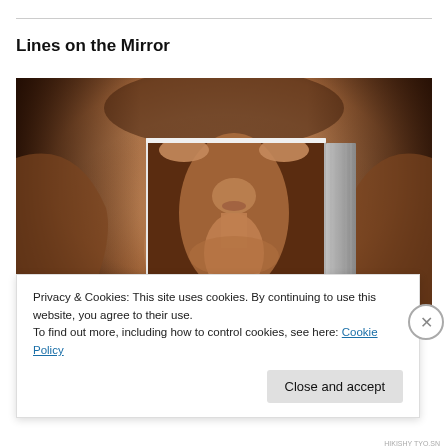Lines on the Mirror
[Figure (photo): Book cover photo showing a shirtless male figure holding a book in front of his face, in sepia/dark tones. The book cover mirrors the same figure.]
Privacy & Cookies: This site uses cookies. By continuing to use this website, you agree to their use.
To find out more, including how to control cookies, see here: Cookie Policy
Close and accept